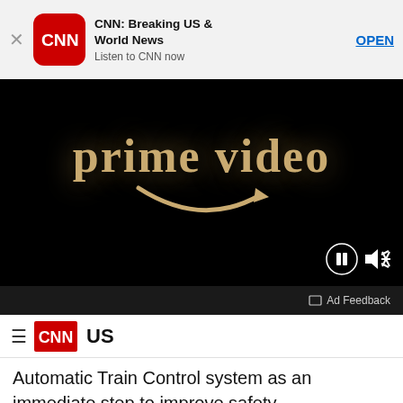[Figure (screenshot): App store ad banner for CNN: Breaking US & World News app with close button, CNN logo, app name, tagline 'Listen to CNN now', and OPEN button]
[Figure (screenshot): Amazon Prime Video ad playing in a video player showing 'prime video' logo text on black background with playback controls (pause and mute icons)]
Ad Feedback
[Figure (logo): CNN navigation bar with hamburger menu, CNN red badge logo, and 'US' section label]
Automatic Train Control system as an immediate step to improve safety.
CNN RELATED Train conductor killed in train derailment in El...